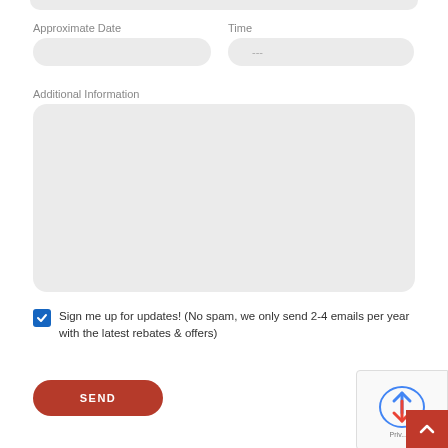Approximate Date
Time
---
Additional Information
Sign me up for updates! (No spam, we only send 2-4 emails per year with the latest rebates & offers)
SEND
Priv...ns